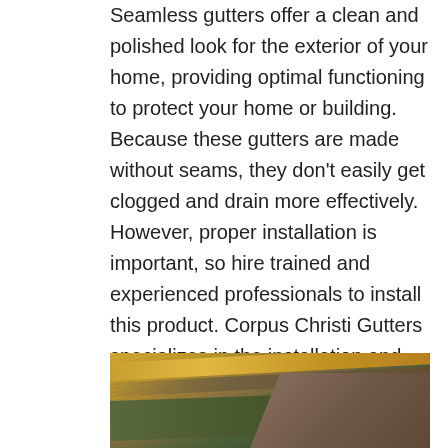Seamless gutters offer a clean and polished look for the exterior of your home, providing optimal functioning to protect your home or building. Because these gutters are made without seams, they don't easily get clogged and drain more effectively. However, proper installation is important, so hire trained and experienced professionals to install this product. Corpus Christi Gutters specializes in the installation and maintenance of seamless gutters. As you can see, we are the company for your gutter installation Corpus Christi needs. If you would like more information about this type of gutter system, please give us a call.
[Figure (photo): Close-up photo of roof gutters and shingles showing yellow/tan gutter material alongside green and brown roofing materials]